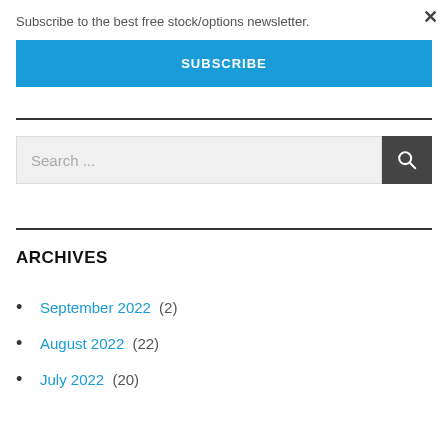Subscribe to the best free stock/options newsletter.
SUBSCRIBE
Search ...
ARCHIVES
September 2022 (2)
August 2022 (22)
July 2022 (20)